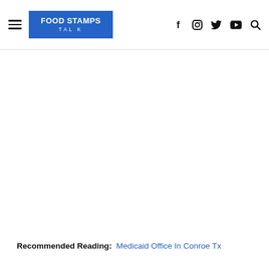FOOD STAMPS TALK — navigation header with hamburger menu, logo, and social icons (f, Instagram, Twitter, YouTube, Search)
Recommended Reading:  Medicaid Office In Conroe Tx